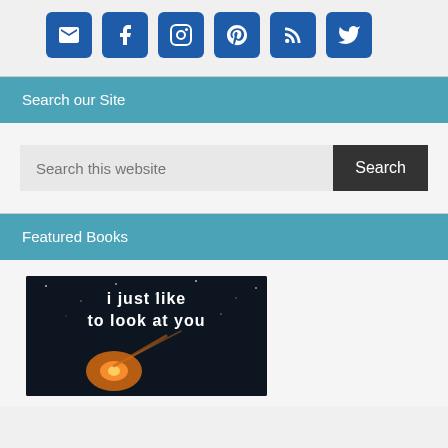[Figure (infographic): Row of six social media icon buttons (email, Facebook, Instagram, Pinterest, RSS, Twitter) on light gray background]
Search our Site
[Figure (screenshot): Search bar with placeholder text 'Search this website' and a dark 'Search' button]
Featured Books
[Figure (photo): Book cover with dark space background and text 'i just like to look at you' with an orange glowing comet or rocket]